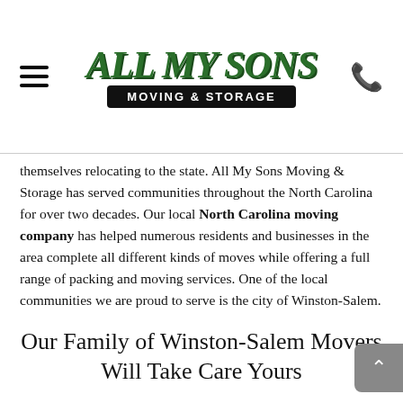All My Sons Moving & Storage
themselves relocating to the state. All My Sons Moving & Storage has served communities throughout the North Carolina for over two decades. Our local North Carolina moving company has helped numerous residents and businesses in the area complete all different kinds of moves while offering a full range of packing and moving services. One of the local communities we are proud to serve is the city of Winston-Salem.
Our Family of Winston-Salem Movers Will Take Care Yours
Winston-Salem is home to a progressive community with rich cultural attractions. The city is known for its dedication to fine arts and historic preservation. If you move to Winston-Salem, there will be a museum that